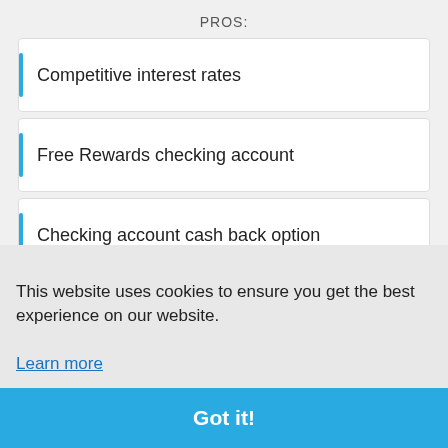PROS:
Competitive interest rates
Free Rewards checking account
Checking account cash back option
No fees and low opening required amounts
CONS:
Required account balance for high rates
This website uses cookies to ensure you get the best experience on our website.
Learn more
Got it!